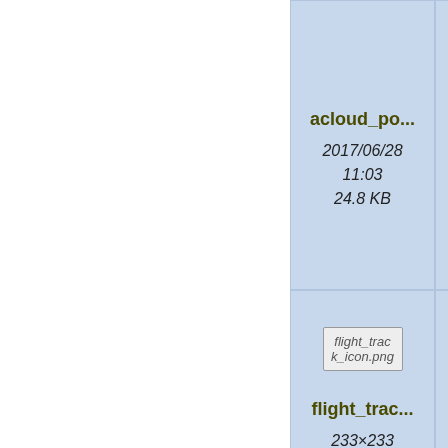[Figure (screenshot): File browser grid view showing document tiles with filenames, dates, and file sizes. Visible tiles: acloud_po... (2017/06/28 11:03, 24.8 KB), data_prot... (2017/05/22 15:08, 712.7 KB), docu... (partially visible), flight_trac... (233×233, 2017/04/28 17:03, 23.8 KB), flightplan... (2017/05/22 23:27, 475.2 KB), fligh... (partially visible), and two more PDF tiles partially visible at bottom.]